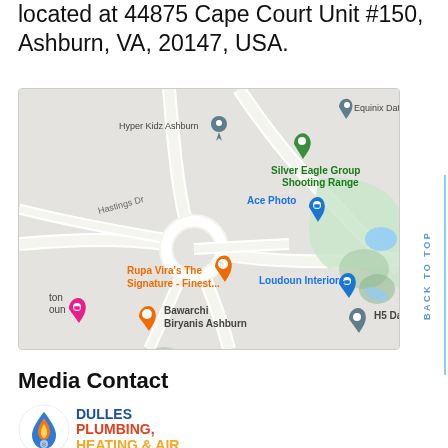located at 44875 Cape Court Unit #150, Ashburn, VA, 20147, USA.
[Figure (map): Google Maps screenshot showing area around 44875 Cape Court, Ashburn, VA. Landmarks include Hyper Kidz Ashburn, Silver Eagle Group Shooting Range, Ace Photo, Rupa Vira's The Signature - Finest..., Loudoun Interiors, Bawarchi Biryanis Ashburn, H5 Data Center, Equinix Data Ce[nter].]
Media Contact
[Figure (logo): Dulles Plumbing, Heating & Air logo with flame/water drop icon]